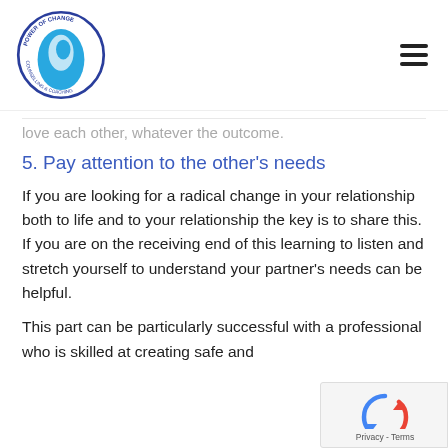Power of Change Counselling & Coaching logo and navigation
love each other, whatever the outcome.
5. Pay attention to the other's needs
If you are looking for a radical change in your relationship both to life and to your relationship the key is to share this. If you are on the receiving end of this learning to listen and stretch yourself to understand your partner's needs can be helpful.
This part can be particularly successful with a professional who is skilled at creating safe and